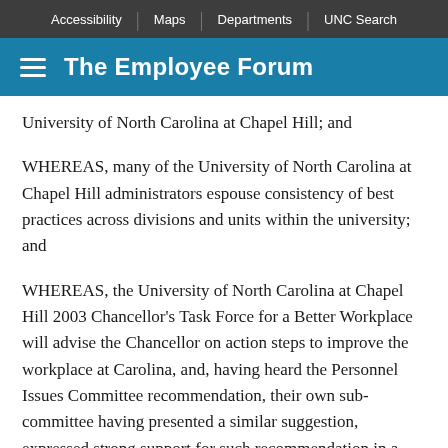Accessibility | Maps | Departments | UNC Search
The Employee Forum
University of North Carolina at Chapel Hill; and
WHEREAS, many of the University of North Carolina at Chapel Hill administrators espouse consistency of best practices across divisions and units within the university; and
WHEREAS, the University of North Carolina at Chapel Hill 2003 Chancellor's Task Force for a Better Workplace will advise the Chancellor on action steps to improve the workplace at Carolina, and, having heard the Personnel Issues Committee recommendation, their own sub-committee having presented a similar suggestion, expressed strong support for such recommendation in a full